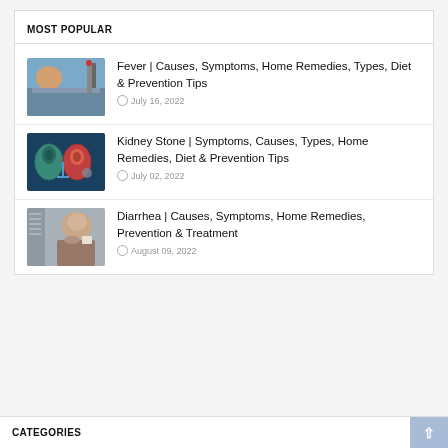MOST POPULAR
Fever | Causes, Symptoms, Home Remedies, Types, Diet & Prevention Tips — July 16, 2022
Kidney Stone | Symptoms, Causes, Types, Home Remedies, Diet & Prevention Tips — July 02, 2022
Diarrhea | Causes, Symptoms, Home Remedies, Prevention & Treatment — August 09, 2022
CATEGORIES